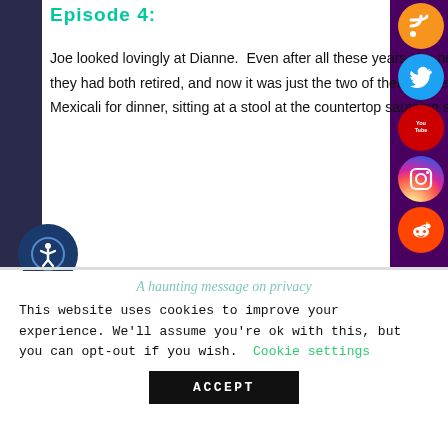Episode 4:
Joe looked lovingly at Dianne.  Even after all these years she never ceased to amaze him.  The kids were grown and had flown the coop, they had both retired, and now it was just the two of them in the great big house.  Dianne continued to play homemaker and was making Mexicali for dinner, sitting at a stool at the countertop sautéing some leftover chicken from the night before with some salsa.
[Figure (infographic): Social media icons on right side: RSS (orange), Twitter (blue), YouTube (red), Instagram (gradient), Reddit (orange-red)]
[Figure (illustration): Accessibility icon - white person in circle on dark blue background]
A haunting message on privacy
This website uses cookies to improve your experience. We'll assume you're ok with this, but you can opt-out if you wish.
Cookie settings
ACCEPT